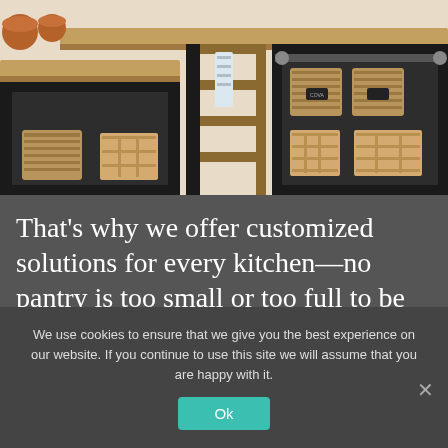[Figure (photo): Kitchen pantry organization photo showing wooden countertops, black metal shelving units with wicker baskets, wooden crates, copper pots, and various pantry items organized on shelves]
That's why we offer customized solutions for every kitchen—no pantry is too small or too full to be organized.
We use cookies to ensure that we give you the best experience on our website. If you continue to use this site we will assume that you are happy with it.